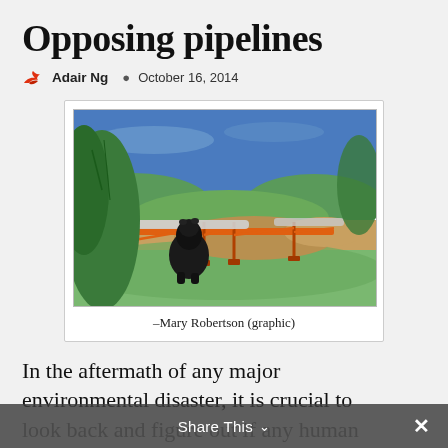Opposing pipelines
Adair Ng   October 16, 2014
[Figure (illustration): Hand-drawn illustration showing a black bear near a green hillside with orange pipeline construction barriers/fencing across a dirt excavation landscape, with blue sky and green trees in the background. Credit: Mary Robertson (graphic).]
–Mary Robertson (graphic)
In the aftermath of any major environmental disaster, it is crucial to look back and figure out if any human
Share This